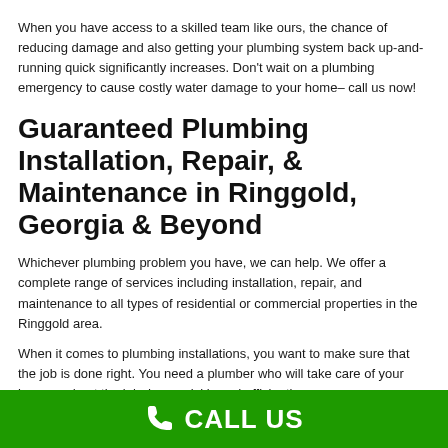When you have access to a skilled team like ours, the chance of reducing damage and also getting your plumbing system back up-and-running quick significantly increases. Don't wait on a plumbing emergency to cause costly water damage to your home– call us now!
Guaranteed Plumbing Installation, Repair, & Maintenance in Ringgold, Georgia & Beyond
Whichever plumbing problem you have, we can help. We offer a complete range of services including installation, repair, and maintenance to all types of residential or commercial properties in the Ringgold area.
When it comes to plumbing installations, you want to make sure that the job is done right. You need a plumber who will take care of your home and get the job done quickly and efficiently.
CALL US